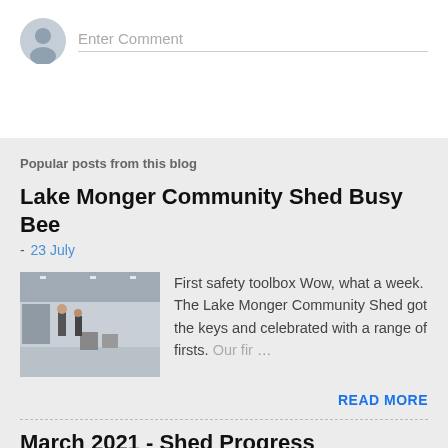[Figure (screenshot): Comment input field with avatar icon and 'Enter Comment' placeholder text]
Popular posts from this blog
Lake Monger Community Shed Busy Bee
- 23 July
[Figure (photo): Interior of a community shed/workshop with people standing, chairs and equipment visible]
First safety toolbox Wow, what a week.  The Lake Monger Community Shed got the keys and celebrated with a range of firsts. Our fir …
READ MORE
March 2021 - Shed Progress